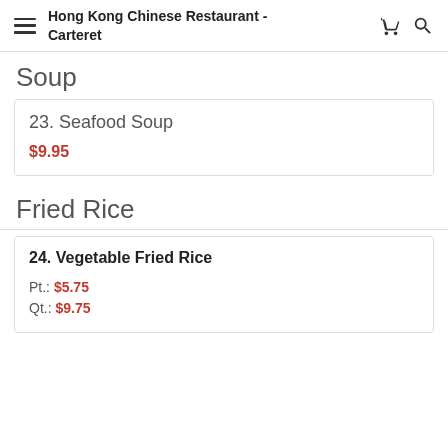Hong Kong Chinese Restaurant - Carteret
Soup
23. Seafood Soup
$9.95
Fried Rice
24. Vegetable Fried Rice
Pt.: $5.75
Qt.: $9.75